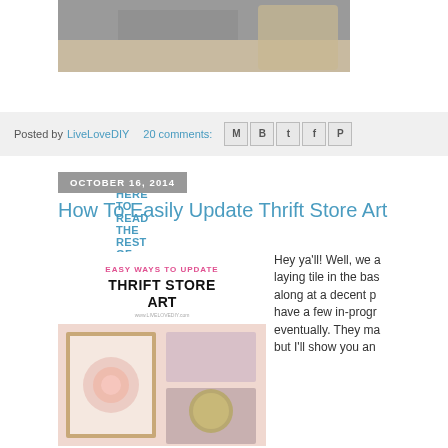[Figure (photo): Top portion of a photo showing draped fabric and a wicker basket on a wooden floor]
CLICK HERE TO READ THE REST OF THIS POST »
Posted by LiveLoveDIY  20 comments:  [share icons: email, blogger, twitter, facebook, pinterest]
OCTOBER 16, 2014
How To Easily Update Thrift Store Art
[Figure (photo): Pinterest-style graphic: 'EASY WAYS TO UPDATE THRIFT STORE ART' with images of framed flower art and craft supplies]
Hey ya'll! Well, we a laying tile in the bas along at a decent p have a few in-prog eventually. They ma but I'll show you an